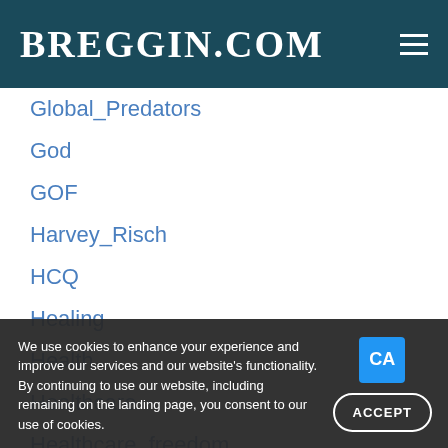BREGGIN.COM
Global_Predators
God
GOF
Harvey_Risch
HCQ
Healing
Health
Healthcare
Healthcare_freedom
Health_Freedom
Home_treatment
Honored-guests-blog
Hydroxychloroquine
Immune_System
Iron_Curtain
We use cookies to enhance your experience and improve our services and our website's functionality. By continuing to use our website, including remaining on the landing page, you consent to our use of cookies.